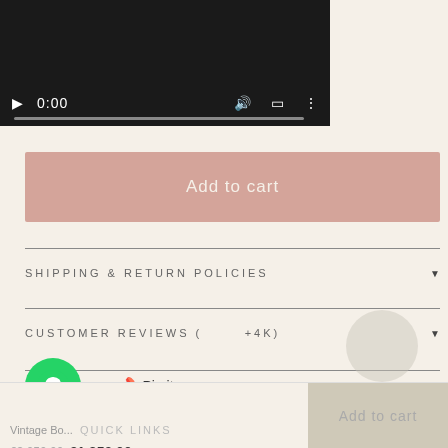[Figure (screenshot): Video player bar showing 0:00 timestamp with play, volume, fullscreen, and more icons on dark background with progress bar]
Add to cart
SHIPPING & RETURN POLICIES
CUSTOMER REVIEWS ( +4K)
ASK A QUESTION
[Figure (logo): WhatsApp green circle logo button]
Pin it
Vintage Bo...
QUICK LINKS
€3.250,00 €1.350,00
Add to cart